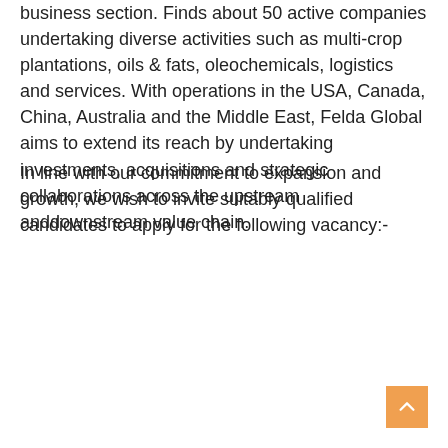business section. Finds about 50 active companies undertaking diverse activities such as multi-crop plantations, oils & fats, oleochemicals, logistics and services. With operations in the USA, Canada, China, Australia and the Middle East, Felda Global aims to extend its reach by undertaking investments, acquisitions and strategic collaborations across the upstream anddownstream value chain.
In line with our commitment to expansion and growth, we wish to invite suitably qualified candidates to apply for the following vacancy:-